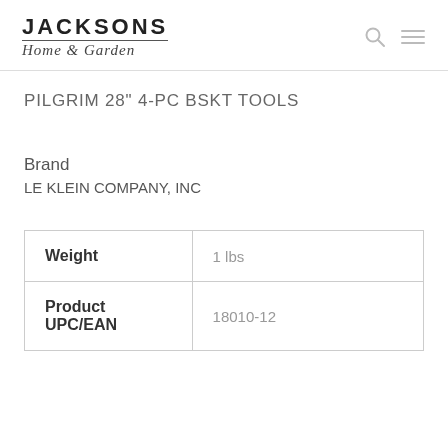JACKSONS Home & Garden
PILGRIM 28" 4-PC BSKT TOOLS
Brand
LE KLEIN COMPANY, INC
|  |  |
| --- | --- |
| Weight | 1 lbs |
| Product UPC/EAN | 18010-12 |